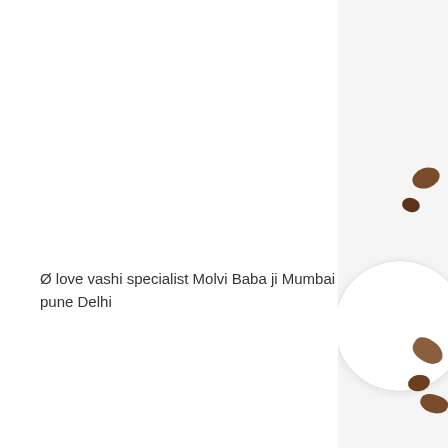Ø love vashi specialist Molvi Baba ji Mumbai pune Delhi
[Figure (photo): Partial view of a white plate with nuts/seeds scattered around it on a white background, visible on the right side of the page]